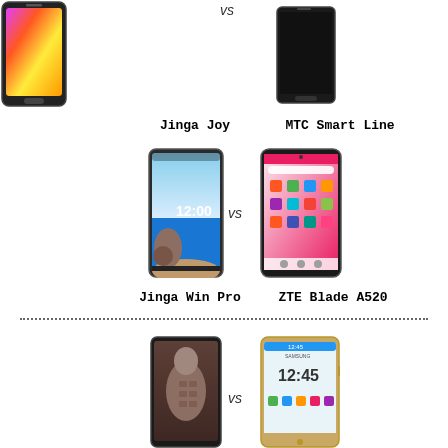[Figure (photo): Jinga Joy smartphone with colorful gradient screen]
[Figure (photo): MTC Smart Line smartphone with black screen]
Jinga Joy
MTC Smart Line
[Figure (photo): Jinga Win Pro smartphone showing beach/clock lockscreen]
[Figure (photo): ZTE Blade A520 smartphone with colorful UI]
Jinga Win Pro
ZTE Blade A520
[Figure (photo): Smartphone with muscular man wallpaper]
[Figure (photo): Samsung smartphone showing 12:45 time]